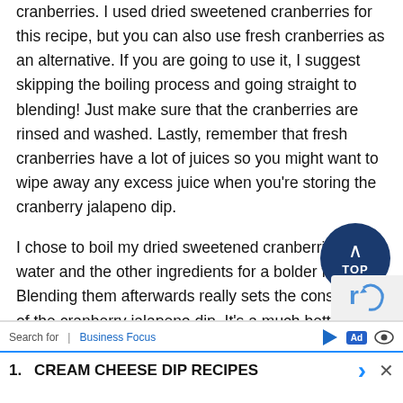cranberries. I used dried sweetened cranberries for this recipe, but you can also use fresh cranberries as an alternative. If you are going to use it, I suggest skipping the boiling process and going straight to blending! Just make sure that the cranberries are rinsed and washed. Lastly, remember that fresh cranberries have a lot of juices so you might want to wipe away any excess juice when you're storing the cranberry jalapeno dip.
I chose to boil my dried sweetened cranberries with water and the other ingredients for a bolder flavor. Blending them afterwards really sets the consistency of the cranberry jalapeno dip. It's a much better and more delicious cracker when it's smooth and velvety in texture! I had a wonderful time using this as a dip for my crackers, and even saved some for my relatives to taste.
[Figure (other): Dark blue circular TOP button with upward chevron arrow]
[Figure (other): reCAPTCHA logo overlay in bottom right corner]
Search for | Business Focus   [Ad]   1. CREAM CHEESE DIP RECIPES  >